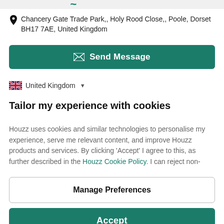Chancery Gate Trade Park,, Holy Rood Close,, Poole, Dorset BH17 7AE, United Kingdom
Send Message
United Kingdom
Tailor my experience with cookies
Houzz uses cookies and similar technologies to personalise my experience, serve me relevant content, and improve Houzz products and services. By clicking 'Accept' I agree to this, as further described in the Houzz Cookie Policy. I can reject non-
Manage Preferences
Accept